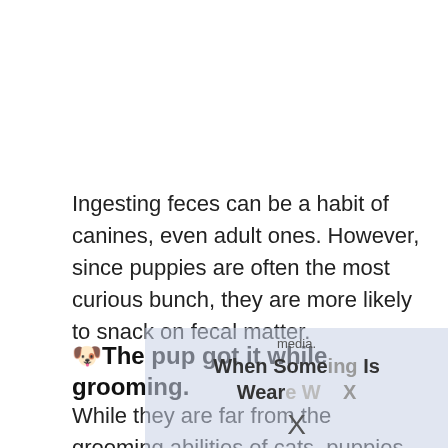Ingesting feces can be a habit of canines, even adult ones. However, since puppies are often the most curious bunch, they are more likely to snack on fecal matter.
🐶The pup got it while grooming.
While they are far from the grooming abilities of cats, puppies will still lick parts of their bodies for grooming. In the process, the pup may ingest...